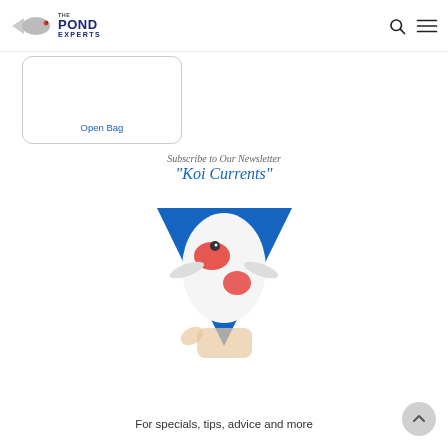[Figure (logo): The Pond Experts logo with fish silhouette]
Open Bag
[Figure (illustration): Subscribe to Our Newsletter 'Koi Currents' - image of a koi fish being held over a blue triangle background]
For specials, tips, advice and more